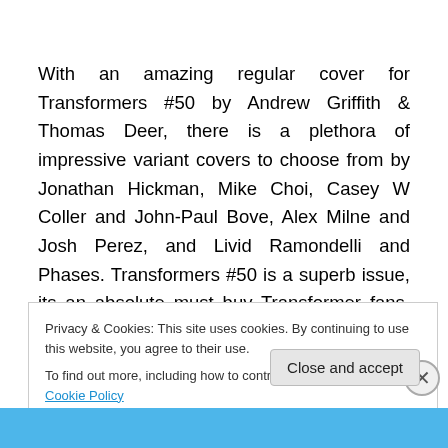With an amazing regular cover for Transformers #50 by Andrew Griffith & Thomas Deer, there is a plethora of impressive variant covers to choose from by Jonathan Hickman, Mike Choi, Casey W Coller and John-Paul Bove, Alex Milne and Josh Perez, and Livid Ramondelli and Phases. Transformers #50 is a superb issue, its an absolute must buy Transformer fans, but it also serves as a good jumping on point for new readers as well, and it
Privacy & Cookies: This site uses cookies. By continuing to use this website, you agree to their use.
To find out more, including how to control cookies, see here: Cookie Policy